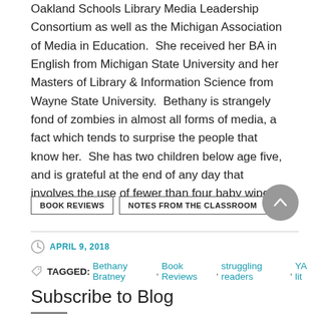Oakland Schools Library Media Leadership Consortium as well as the Michigan Association of Media in Education.  She received her BA in English from Michigan State University and her Masters of Library & Information Science from Wayne State University.  Bethany is strangely fond of zombies in almost all forms of media, a fact which tends to surprise the people that know her.  She has two children below age five, and is grateful at the end of any day that involves the use of fewer than four baby wipes.
BOOK REVIEWS
NOTES FROM THE CLASSROOM
APRIL 9, 2018
TAGGED: Bethany Bratney, Book Reviews, struggling readers, YA lit
Subscribe to Blog